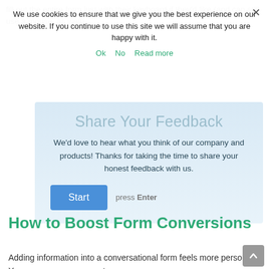fill out the entire form just with their keyboard if they'd like (and can still use a mouse, as well).
We use cookies to ensure that we give you the best experience on our website. If you continue to use this site we will assume that you are happy with it.
Ok   No   Read more
[Figure (screenshot): A conversational feedback form with title 'Share Your Feedback', body text 'We'd love to hear what you think of our company and products! Thanks for taking the time to share your honest feedback with us.', a blue Start button, and 'press Enter' label.]
How to Boost Form Conversions
Adding information into a conversational form feels more personal. You can use your mouse to